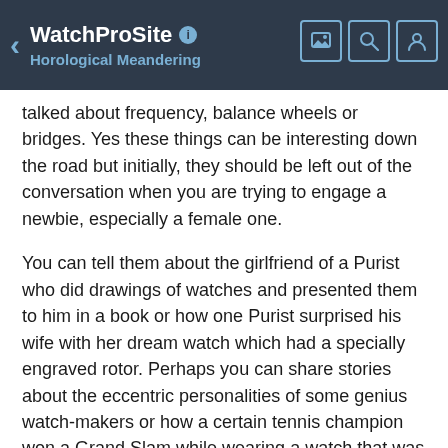WatchProSite — Horological Meandering
talked about frequency, balance wheels or bridges. Yes these things can be interesting down the road but initially, they should be left out of the conversation when you are trying to engage a newbie, especially a female one.
You can tell them about the girlfriend of a Purist who did drawings of watches and presented them to him in a book or how one Purist surprised his wife with her dream watch which had a specially engraved rotor. Perhaps you can share stories about the eccentric personalities of some genius watch-makers or how a certain tennis champion won a Grand Slam while wearing a watch that was specifically made for him. The story that you tell should be about something they can relate to. And since the general public lacks technical knowledge about watches, there is little that they can relate to when you talk about how great the movement or finishing is.
Ask For Their “Impressions”
It all comes down to how you engage in the conversation, it’s more about the